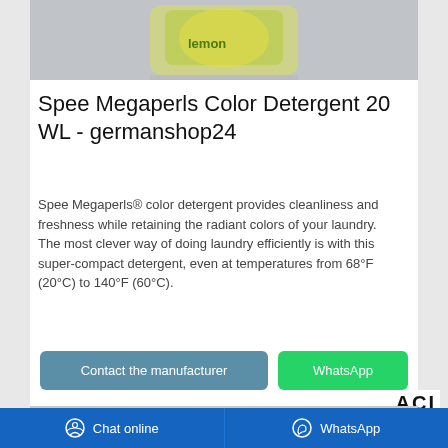[Figure (photo): Top portion of a Spee Megaperls Color Detergent product bag with lemon imagery on a gray background]
Spee Megaperls Color Detergent 20 WL - germanshop24
Spee Megaperls® color detergent provides cleanliness and freshness while retaining the radiant colors of your laundry. The most clever way of doing laundry efficiently is with this super-compact detergent, even at temperatures from 68°F (20°C) to 140°F (60°C).
[Figure (other): Contact the manufacturer button (teal/slate blue) and WhatsApp button (green)]
ACI
[Figure (photo): Bottom portion of another product image with orange packaging on gray background]
Chat online   WhatsApp